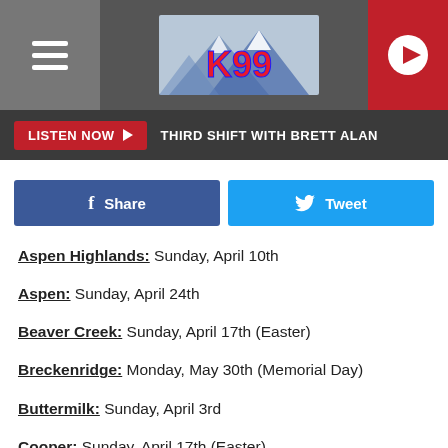[Figure (logo): K99 radio station logo with mountain background, hamburger menu icon on left, play button on right]
LISTEN NOW ▶  THIRD SHIFT WITH BRETT ALAN
Share  Tweet
Aspen Highlands: Sunday, April 10th
Aspen: Sunday, April 24th
Beaver Creek: Sunday, April 17th (Easter)
Breckenridge: Monday, May 30th (Memorial Day)
Buttermilk: Sunday, April 3rd
Cooper: Sunday, April 17th (Easter)
Copper Mountain: Sunday, April 24th